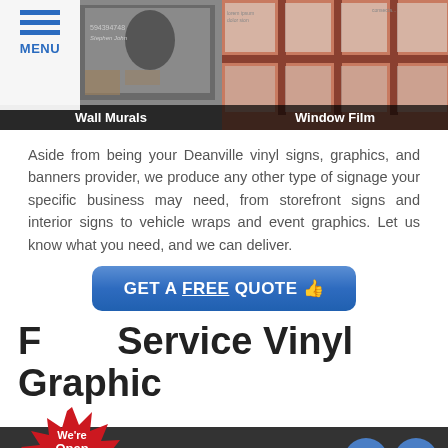[Figure (photo): Wall Murals photo showing a room with a large banner/mural and tables, with a MENU overlay in top left corner]
Wall Murals
[Figure (photo): Window Film photo showing frosted/tinted window panels in a red-framed grid]
Window Film
Aside from being your Deanville vinyl signs, graphics, and banners provider, we produce any other type of signage your specific business may need, from storefront signs and interior signs to vehicle wraps and event graphics. Let us know what you need, and we can deliver.
[Figure (infographic): Blue rounded rectangle button with text GET A FREE QUOTE and pointer cursor icon]
Full Service Vinyl Graphic
[Figure (infographic): Red starburst badge with text We're Open Phone/Video Consultations Available]
[Figure (infographic): Blue circle phone icon and blue circle email/envelope icon]